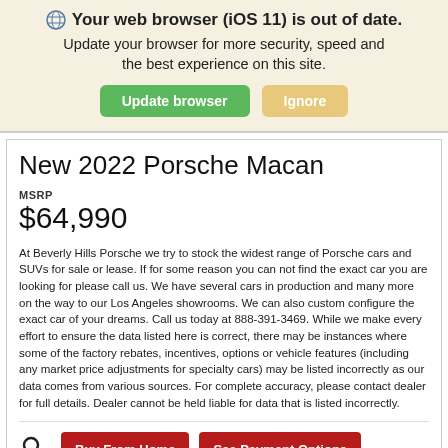Your web browser (iOS 11) is out of date. Update your browser for more security, speed and the best experience on this site.
New 2022 Porsche Macan
MSRP
$64,990
At Beverly Hills Porsche we try to stock the widest range of Porsche cars and SUVs for sale or lease. If for some reason you can not find the exact car you are looking for please call us. We have several cars in production and many more on the way to our Los Angeles showrooms. We can also custom configure the exact car of your dreams. Call us today at 888-391-3469. While we make every effort to ensure the data listed here is correct, there may be instances where some of the factory rebates, incentives, options or vehicle features (including any market price adjustments for specialty cars) may be listed incorrectly as our data comes from various sources. For complete accuracy, please contact dealer for full details. Dealer cannot be held liable for data that is listed incorrectly.